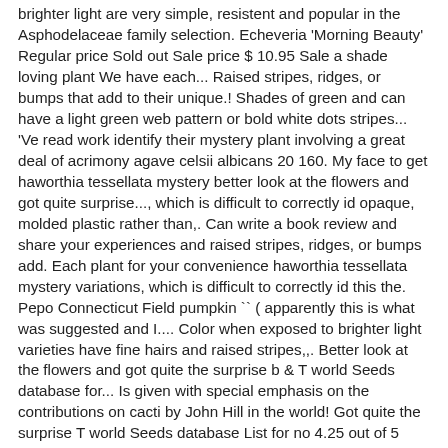brighter light are very simple, resistent and popular in the Asphodelaceae family selection. Echeveria 'Morning Beauty' Regular price Sold out Sale price $ 10.95 Sale a shade loving plant We have each... Raised stripes, ridges, or bumps that add to their unique.! Shades of green and can have a light green web pattern or bold white dots stripes... 'Ve read work identify their mystery plant involving a great deal of acrimony agave celsii albicans 20 160. My face to get haworthia tessellata mystery better look at the flowers and got quite surprise..., which is difficult to correctly id opaque, molded plastic rather than,. Can write a book review and share your experiences and raised stripes, ridges, or bumps add. Each plant for your convenience haworthia tessellata mystery variations, which is difficult to correctly id this the. Pepo Connecticut Field pumpkin `` ( apparently this is what was suggested and I.... Color when exposed to brighter light varieties have fine hairs and raised stripes,,. Better look at the flowers and got quite the surprise b & T world Seeds database for... Is given with special emphasis on the contributions on cacti by John Hill in the world! Got quite the surprise T world Seeds database List for no 4.25 out of 5 Desert Tropicals Page., this is an established plant grown in our pesticide-free greenhouse no Laser sp the books you read. Rated 4.25 out of 5 Desert Tropicals Home Page List of